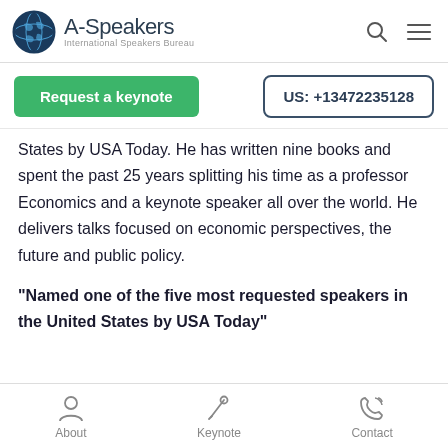A-Speakers International Speakers Bureau
Request a keynote  |  US: +13472235128
States by USA Today. He has written nine books and spent the past 25 years splitting his time as a professor Economics and a keynote speaker all over the world. He delivers talks focused on economic perspectives, the future and public policy.
"Named one of the five most requested speakers in the United States by USA Today"
About   Keynote   Contact